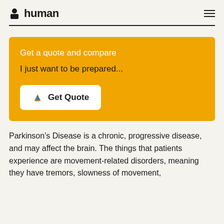human
Get a quote and compare
I just want to be prepared...
Get Quote
Parkinson's Disease is a chronic, progressive disease, and may affect the brain. The things that patients experience are movement-related disorders, meaning they have tremors, slowness of movement,